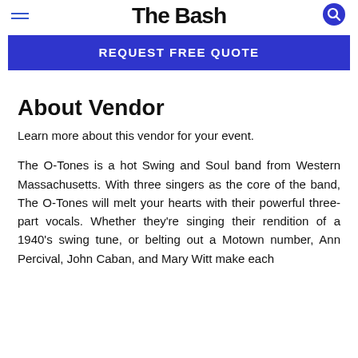The Bash
REQUEST FREE QUOTE
About Vendor
Learn more about this vendor for your event.
The O-Tones is a hot Swing and Soul band from Western Massachusetts. With three singers as the core of the band, The O-Tones will melt your hearts with their powerful three-part vocals. Whether they're singing their rendition of a 1940's swing tune, or belting out a Motown number, Ann Percival, John Caban, and Mary Witt make each